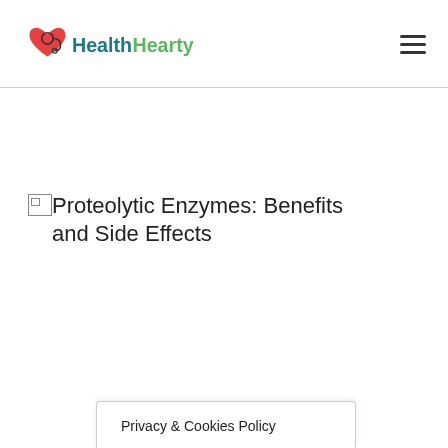HealthHearty
[Figure (logo): HealthHearty logo with red heart and stethoscope icon, teal and green text]
Proteolytic Enzymes: Benefits and Side Effects
Privacy & Cookies Policy